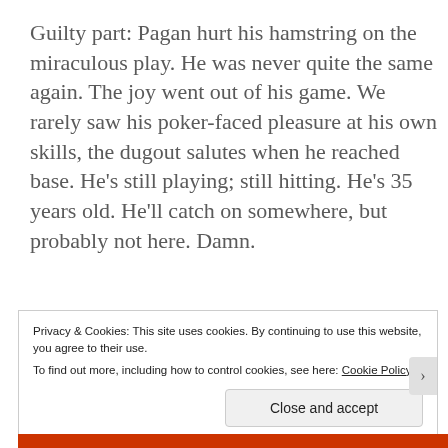Guilty part: Pagan hurt his hamstring on the miraculous play. He was never quite the same again. The joy went out of his game. We rarely saw his poker-faced pleasure at his own skills, the dugout salutes when he reached base. He’s still playing; still hitting. He’s 35 years old. He’ll catch on somewhere, but probably not here. Damn.
Privacy & Cookies: This site uses cookies. By continuing to use this website, you agree to their use.
To find out more, including how to control cookies, see here: Cookie Policy
Close and accept